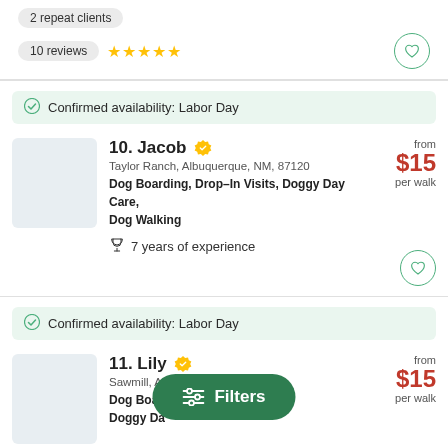2 repeat clients
10 reviews ★★★★★
Confirmed availability: Labor Day
10. Jacob — Taylor Ranch, Albuquerque, NM, 87120 — Dog Boarding, Drop-In Visits, Doggy Day Care, Dog Walking — from $15 per walk — 7 years of experience
Confirmed availability: Labor Day
11. Lily — Sawmill, Albuquerque, NM, 87104 — Dog Boarding, Drop-In Visits, Doggy Day Care — from $15 per walk — 30 repeat clients
Filters